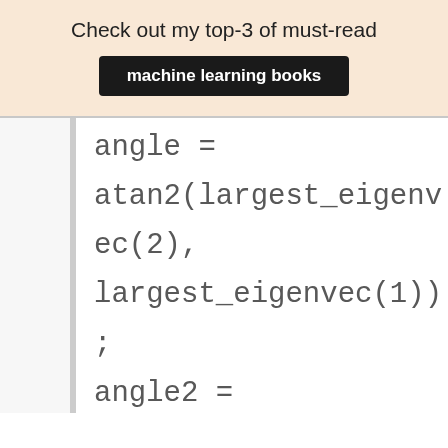Check out my top-3 of must-read
machine learning books
angle =

atan2(largest_eigenvec(2),

largest_eigenvec(1))

;

angle2 =